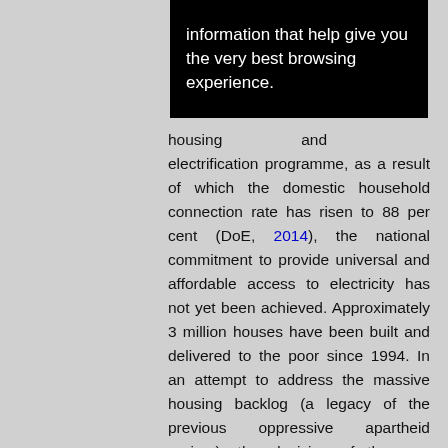[Figure (screenshot): Black banner/tooltip box with white text reading: 'information that help give you the very best browsing experience.']
housing and electrification programme, as a result of which the domestic household connection rate has risen to 88 per cent (DoE, 2014), the national commitment to provide universal and affordable access to electricity has not yet been achieved. Approximately 3 million houses have been built and delivered to the poor since 1994. In an attempt to address the massive housing backlog (a legacy of the previous oppressive apartheid regime), the decision of the new government was to build as many houses as swiftly as possible in a cost-effective manner. As a consequence, while many houses were built, they lacked important thermal insulation: many even lacked